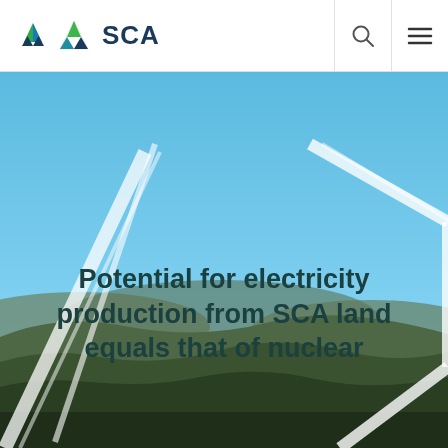SCA
[Figure (photo): Aerial landscape photo showing a panoramic view of forested hills and sky with wind turbine blades visible on the right side, forming a hexagonal frame overlay. Blue sky dominates the upper portion, with tree-covered rolling terrain in the lower portion.]
Potential for electricity production from SCA land equals that of nuclear